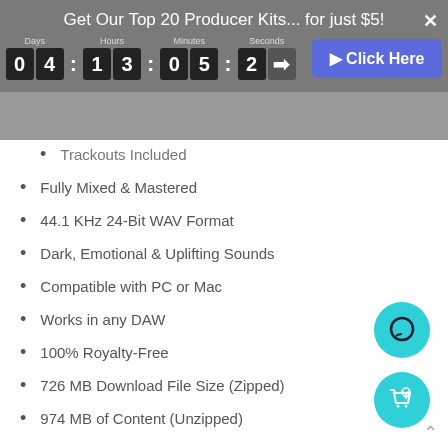Get Our Top 20 Producer Kits... for just $5!
[Figure (screenshot): Countdown timer showing Days: 04, Hours: 13, Minutes: 05, Seconds: 2? with a blue 'Click Here' button]
Trackouts Included
Fully Mixed & Mastered
44.1 KHz 24-Bit WAV Format
Dark, Emotional & Uplifting Sounds
Compatible with PC or Mac
Works in any DAW
100% Royalty-Free
726 MB Download File Size (Zipped)
974 MB of Content (Unzipped)
Reviews